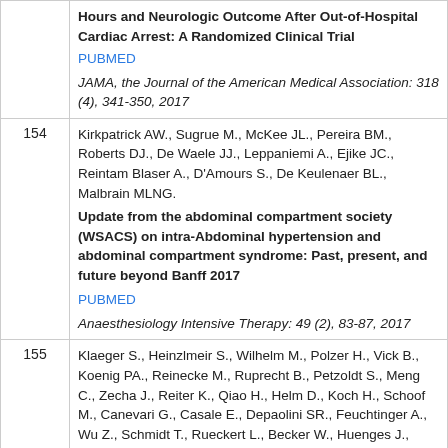| # | Reference |
| --- | --- |
|  | Hours and Neurologic Outcome After Out-of-Hospital Cardiac Arrest: A Randomized Clinical Trial
PUBMED
JAMA, the Journal of the American Medical Association: 318 (4), 341-350, 2017 |
| 154 | Kirkpatrick AW., Sugrue M., McKee JL., Pereira BM., Roberts DJ., De Waele JJ., Leppaniemi A., Ejike JC., Reintam Blaser A., D'Amours S., De Keulenaer BL., Malbrain MLNG.
Update from the abdominal compartment society (WSACS) on intra-Abdominal hypertension and abdominal compartment syndrome: Past, present, and future beyond Banff 2017
PUBMED
Anaesthesiology Intensive Therapy: 49 (2), 83-87, 2017 |
| 155 | Klaeger S., Heinzlmeir S., Wilhelm M., Polzer H., Vick B., Koenig PA., Reinecke M., Ruprecht B., Petzoldt S., Meng C., Zecha J., Reiter K., Qiao H., Helm D., Koch H., Schoof M., Canevari G., Casale E., Depaolini SR., Feuchtinger A., Wu Z., Schmidt T., Rueckert L., Becker W., Huenges J., Garz AK., Gohlke BO., Zolg DP., Kayser |